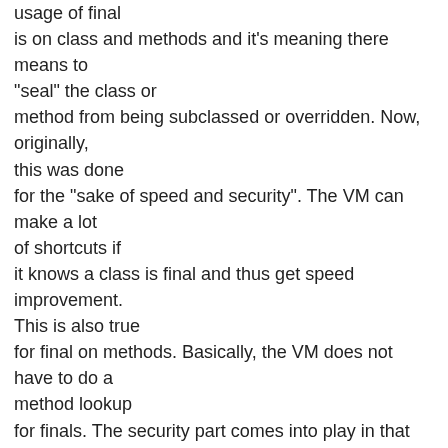usage of final is on class and methods and it's meaning there means to "seal" the class or method from being subclassed or overridden. Now, originally, this was done for the "sake of speed and security". The VM can make a lot of shortcuts if it knows a class is final and thus get speed improvement. This is also true for final on methods. Basically, the VM does not have to do a method lookup for finals. The security part comes into play in that some one can not override your method or class and provide their own implementation. I think either way is EVIL! Why would I say such a statement? Basically, I think by using final you are effectively saying, "I have produced the most perfect code ever known to man. No one will ever ever want to change or enhance this code since it is SO PERFECT!" Now, I don't know about you,